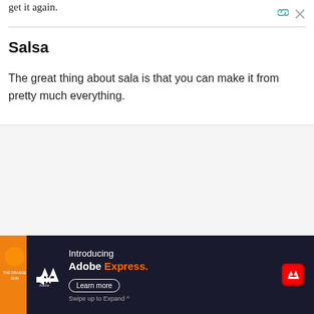get it again.
Salsa
The great thing about sala is that you can make it from pretty much everything.
[Figure (screenshot): Gray image placeholder area with circular heart (blue) and share buttons on the right, and a 'What's Next' card showing Top Iced Coffee Drink... with Dunkin' Donuts thumbnail.]
[Figure (screenshot): Adobe Express advertisement banner on dark navy background with muted speaker icon, Adobe logo, 'Introducing Adobe Express.' text in white/orange, Learn more button, Adobe Express logo icon, and 'Swipe up to Expand ^' text. Orange book covers visible at bottom left.]